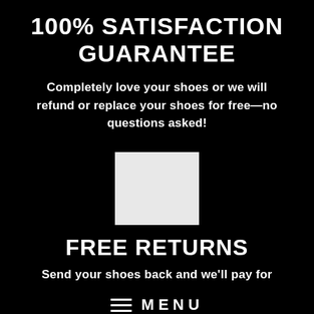100% SATISFACTION GUARANTEE
Completely love your shoes or we will refund or replace your shoes for free—no questions asked!
[Figure (other): White/light gray square placeholder image on black background]
FREE RETURNS
Send your shoes back and we'll pay for
MENU